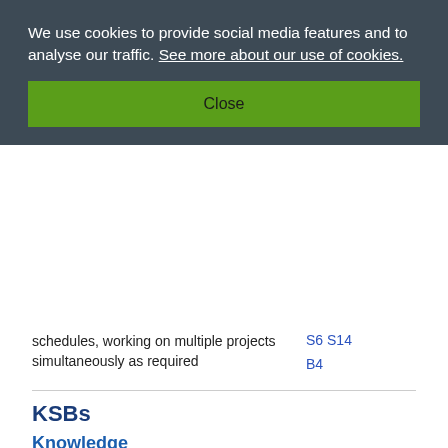We use cookies to provide social media features and to analyse our traffic. See more about our use of cookies.
Close
schedules, working on multiple projects simultaneously as required
S6 S14
B4
KSBs
Knowledge
K1: The roles and departments and functions within an advertising team and how they interact with their own role. For example account planning, Account Executives, production specialists.
K2: The way in which a creative idea is developed from brief